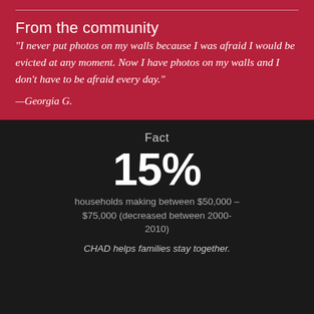From the community
“I never put photos on my walls because I was afraid I would be evicted at any moment. Now I have photos on my walls and I don’t have to be afraid every day.”
—Georgia G.
Fact
15%
households making between $50,000 – $75,000 (decreased between 2000-2010)
CHAD helps families stay together.